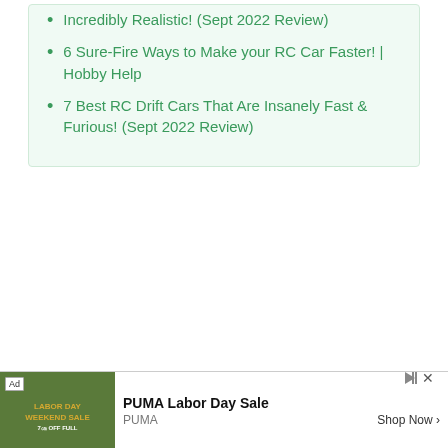Incredibly Realistic! (Sept 2022 Review)
6 Sure-Fire Ways to Make your RC Car Faster! | Hobby Help
7 Best RC Drift Cars That Are Insanely Fast & Furious! (Sept 2022 Review)
[Figure (other): Advertisement banner for PUMA Labor Day Sale with an image of a person on the left, Ad badge, and Shop Now button]